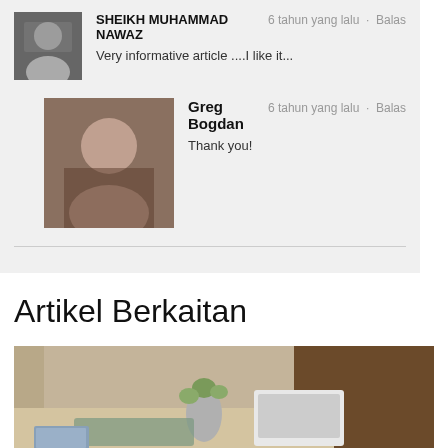SHEIKH MUHAMMAD NAWAZ
6 tahun yang lalu · Balas
Very informative article ....I like it...
Greg Bogdan
6 tahun yang lalu · Balas
Thank you!
Artikel Berkaitan
[Figure (photo): Photo of a desk with a laptop, plant in a vase, and wooden shelving in the background]